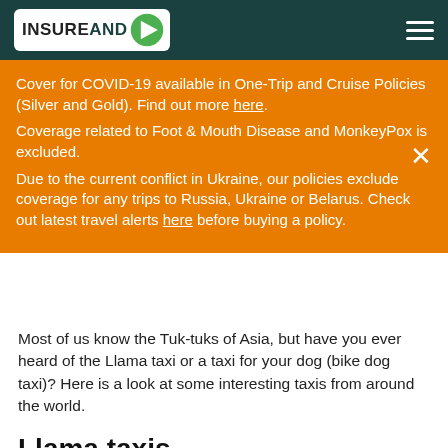INSUREANDGO
Cover for COVID-19 available in One-Trip and Cruise Policies (Silver and Gold). Find out more here.
Coverage related to Foot & Mouth Disease and MonkeyPox is excluded.
Due to the current conflict in Ukraine, our policies exclude coverage for any trips to Russia, Ukraine or Belarus. Check out latest travel alerts here before buying a policy.
Most of us know the Tuk-tuks of Asia, but have you ever heard of the Llama taxi or a taxi for your dog (bike dog taxi)? Here is a look at some interesting taxis from around the world.
Llama taxis
If you happen to visit Peru anytime soon, you might have a chance to see a Llama Taxi! Llama taxis are promoted as a way for tourists to see Peru's natural